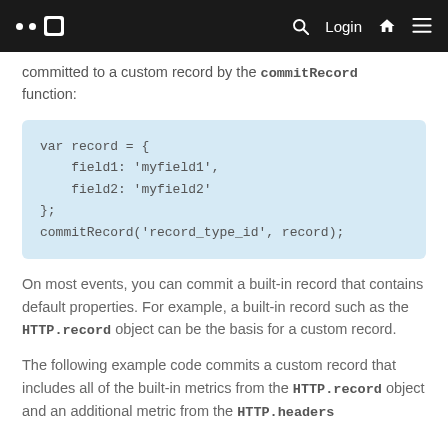Login
committed to a custom record by the commitRecord function:
On most events, you can commit a built-in record that contains default properties. For example, a built-in record such as the HTTP.record object can be the basis for a custom record.
The following example code commits a custom record that includes all of the built-in metrics from the HTTP.record object and an additional metric from the HTTP.headers